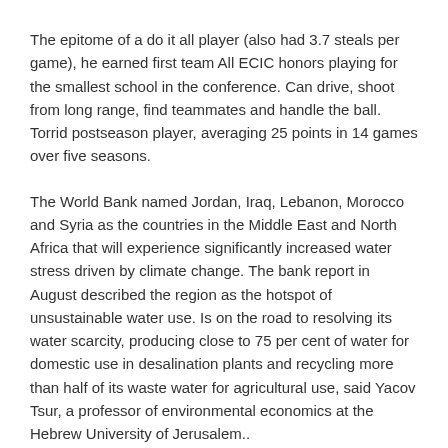The epitome of a do it all player (also had 3.7 steals per game), he earned first team All ECIC honors playing for the smallest school in the conference. Can drive, shoot from long range, find teammates and handle the ball. Torrid postseason player, averaging 25 points in 14 games over five seasons.
The World Bank named Jordan, Iraq, Lebanon, Morocco and Syria as the countries in the Middle East and North Africa that will experience significantly increased water stress driven by climate change. The bank report in August described the region as the hotspot of unsustainable water use. Is on the road to resolving its water scarcity, producing close to 75 per cent of water for domestic use in desalination plants and recycling more than half of its waste water for agricultural use, said Yacov Tsur, a professor of environmental economics at the Hebrew University of Jerusalem..
'A': Grade 7 Nikolas Gasner, Taylor Hagen, Arrica Imm, Macaela Jensen, John Rumpza, Kyle Williamson, Madison Worke. Grade 8